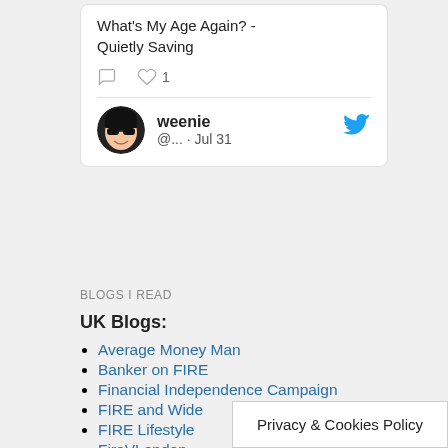What's My Age Again? - Quietly Saving
comment icon, heart icon 1
[Figure (screenshot): Twitter/social media post author block: avatar photo of a person wearing dark sunglasses, username 'weenie', handle '@... · Jul 31', blue Twitter bird icon]
BLOGS I READ
UK Blogs:
Average Money Man
Banker on FIRE
Financial Independence Campaign
FIRE and Wide
FIRE Lifestyle
FireVLondon
FI UK Money
Gentleman's Family Fi…
Monevator
Privacy & Cookies Policy